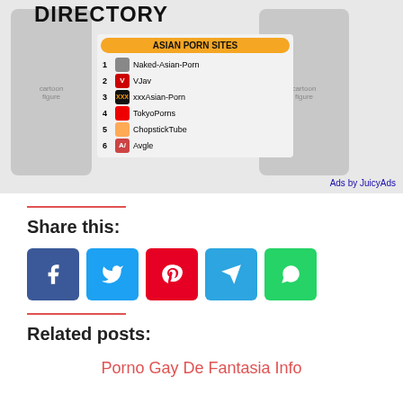[Figure (screenshot): Advertisement banner showing 'Asian Porn Sites' directory with cartoon figures and site listings including Naked-Asian-Porn, VJav, xxxAsian-Porn, TokyoPorns, ChopstickTube, Avgle. Labeled 'Ads by JuicyAds'.]
Share this:
[Figure (infographic): Social share buttons: Facebook (blue), Twitter (light blue), Pinterest (red), Telegram (blue), WhatsApp (green)]
Related posts:
Porno Gay De Fantasia Info